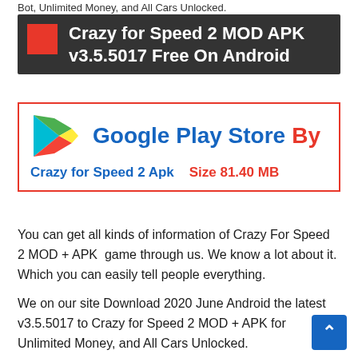Bot, Unlimited Money, and All Cars Unlocked.
Crazy for Speed 2 MOD APK v3.5.5017 Free On Android
[Figure (logo): Google Play Store logo with red border box showing app info: Crazy for Speed 2 Apk, Size 81.40 MB]
You can get all kinds of information of Crazy For Speed 2 MOD + APK  game through us. We know a lot about it. Which you can easily tell people everything.
We on our site Download 2020 June Android the latest v3.5.5017 to Crazy for Speed 2 MOD + APK for Unlimited Money, and All Cars Unlocked.